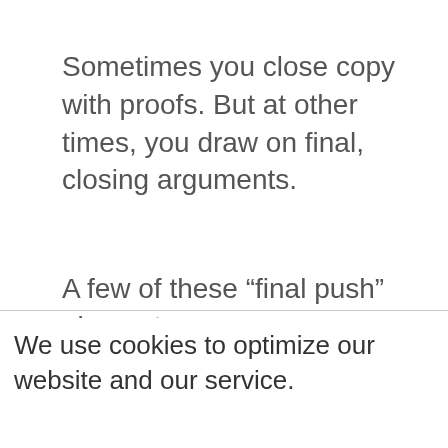Sometimes you close copy with proofs. But at other times, you draw on final, closing arguments.
A few of these “final push” elements
We use cookies to optimize our website and our service.
Accept cookies
Deny
Cookie Policy   Privacy Policy